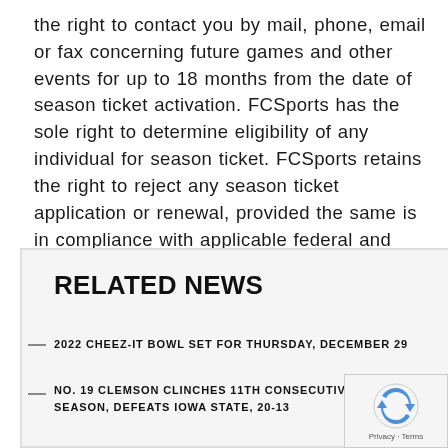the right to contact you by mail, phone, email or fax concerning future games and other events for up to 18 months from the date of season ticket activation. FCSports has the sole right to determine eligibility of any individual for season ticket. FCSports retains the right to reject any season ticket application or renewal, provided the same is in compliance with applicable federal and state laws.
RELATED NEWS
2022 CHEEZ-IT BOWL SET FOR THURSDAY, DECEMBER 29
NO. 19 CLEMSON CLINCHES 11TH CONSECUTIVE 10-WIN SEASON, DEFEATS IOWA STATE, 20-13